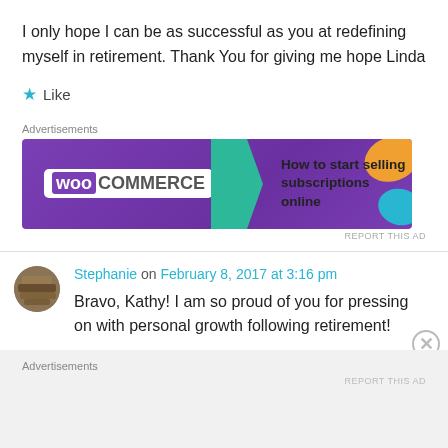I only hope I can be as successful as you at redefining myself in retirement. Thank You for giving me hope Linda
★ Like
Advertisements
[Figure (screenshot): WooCommerce advertisement banner: purple background with WooCommerce logo and text 'How to start selling subscriptions online', with colorful geometric shapes on the right.]
Stephanie on February 8, 2017 at 3:16 pm
Bravo, Kathy! I am so proud of you for pressing on with personal growth following retirement!
Advertisements